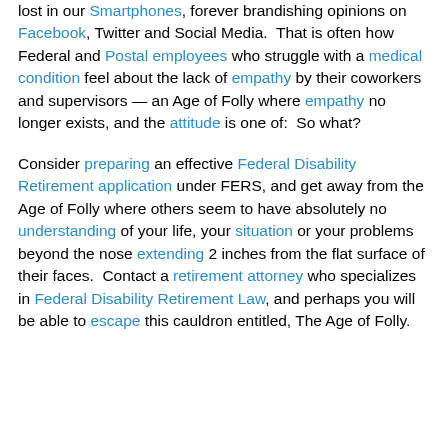lost in our Smartphones, forever brandishing opinions on Facebook, Twitter and Social Media.  That is often how Federal and Postal employees who struggle with a medical condition feel about the lack of empathy by their coworkers and supervisors — an Age of Folly where empathy no longer exists, and the attitude is one of:  So what?
Consider preparing an effective Federal Disability Retirement application under FERS, and get away from the Age of Folly where others seem to have absolutely no understanding of your life, your situation or your problems beyond the nose extending 2 inches from the flat surface of their faces.  Contact a retirement attorney who specializes in Federal Disability Retirement Law, and perhaps you will be able to escape this cauldron entitled, The Age of Folly.